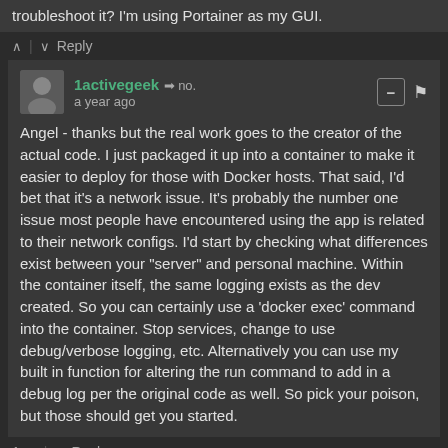troubleshoot it? I'm using Portainer as my GUI.
Reply
1activegeek → no.
a year ago
Angel - thanks but the real work goes to the creator of the actual code. I just packaged it up into a container to make it easier to deploy for those with Docker hosts. That said, I'd bet that it's a network issue. It's probably the number one issue most people have encountered using the app is related to their network configs. I'd start by checking what differences exist between your "server" and personal machine. Within the container itself, the same logging exists as the dev created. So you can certainly use a 'docker exec' command into the container. Stop services, change to use debug/verbose logging, etc. Alternatively you can use my built in function for altering the run command to add in a debug log per the original code as well. So pick your poison, but those should get you started.
1   Reply